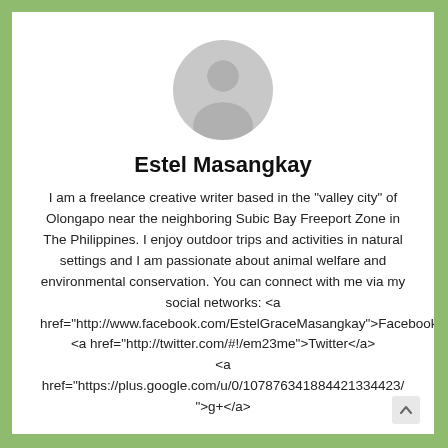[Figure (illustration): Generic user avatar silhouette — gray circle with person outline]
Estel Masangkay
I am a freelance creative writer based in the "valley city" of Olongapo near the neighboring Subic Bay Freeport Zone in The Philippines. I enjoy outdoor trips and activities in natural settings and I am passionate about animal welfare and environmental conservation. You can connect with me via my social networks: <a href="http://www.facebook.com/EstelGraceMasangkay">Facebook</a> <a href="http://twitter.com/#!/em23me">Twitter</a> <a href="https://plus.google.com/u/0/107876341884421334423/">g+</a>